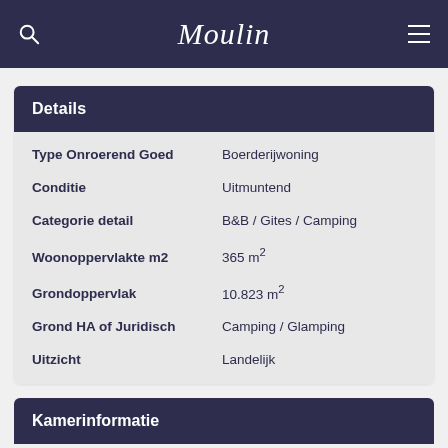Moulin
Details
| Eigenschap | Waarde |
| --- | --- |
| Type Onroerend Goed | Boerderijwoning |
| Conditie | Uitmuntend |
| Categorie detail | B&B / Gites / Camping |
| Woonoppervlakte m2 | 365 m² |
| Grondoppervlak | 10.823 m² |
| Grond HA of Juridisch | Camping / Glamping |
| Uitzicht | Landelijk |
Kamerinformatie